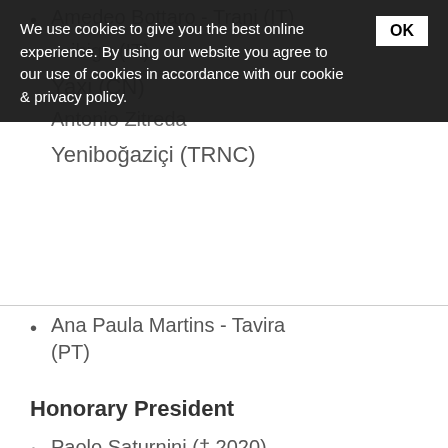Amedeo Bottaro - Trani (IT)
... - ...ibigo (IT)
Yaxi (CN)
Antonio Zitreda
Yeniboğaziçi (TRNC)
We use cookies to give you the best online experience. By using our website you agree to our use of cookies in accordance with our cookie & privacy policy.
Ana Paula Martins - Tavira (PT)
Honorary President
Paolo Saturnini († 2020)
Past Presidents
Paolo Saturnini
Stefano Cimicchi